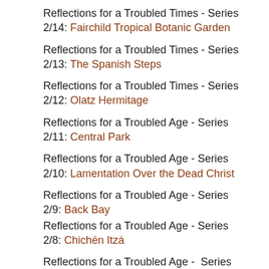Reflections for a Troubled Times - Series 2/14: Fairchild Tropical Botanic Garden
Reflections for a Troubled Times - Series 2/13: The Spanish Steps
Reflections for a Troubled Times - Series 2/12: Olatz Hermitage
Reflections for a Troubled Age - Series 2/11: Central Park
Reflections for a Troubled Age - Series 2/10: Lamentation Over the Dead Christ
Reflections for a Troubled Age - Series 2/9: Back Bay
Reflections for a Troubled Age - Series 2/8: Chichén Itzá
Reflections for a Troubled Age -  Series 2/7 - Epiphany